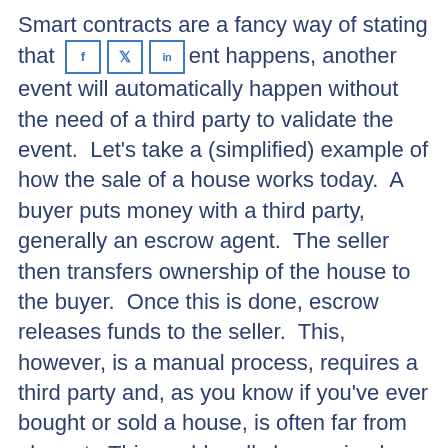Smart contracts are a fancy way of stating that when one event happens, another event will automatically happen without the need of a third party to validate the event. Let's take a (simplified) example of how the sale of a house works today. A buyer puts money with a third party, generally an escrow agent. The seller then transfers ownership of the house to the buyer. Once this is done, escrow releases funds to the seller. This, however, is a manual process, requires a third party and, as you know if you've ever bought or sold a house, is often far from elegant. This could really be as simple as a case where, as soon as funds were received by the buyer, title is automatically sent to the seller with no third party involvement. Voila! This could be handled in a smart contract and is a simple way to consider them.
This now leads us to innovation, and one of the